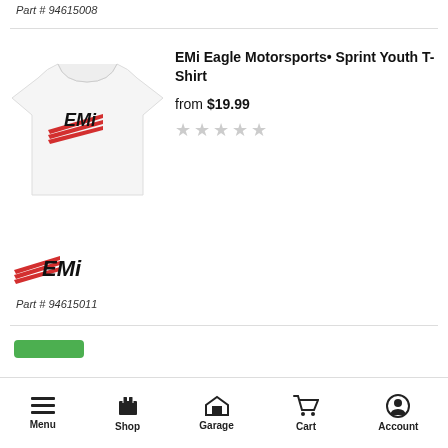Part # 94615008
[Figure (photo): White youth t-shirt with EMi Eagle Motorsports logo in red and black]
EMi Eagle Motorsports• Sprint Youth T-Shirt
from $19.99
[Figure (infographic): 5 empty/grey star rating icons]
[Figure (logo): EMi Eagle Motorsports logo with red wing stripes and bold EMi text]
Part # 94615011
Menu  Shop  Garage  Cart  Account